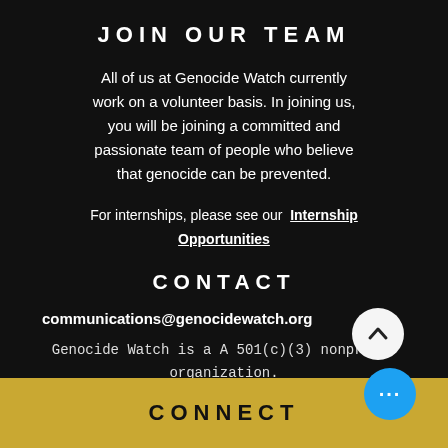JOIN OUR TEAM
All of us at Genocide Watch currently work on a volunteer basis. In joining us, you will be joining a committed and passionate team of people who believe that genocide can be prevented.
For internships, please see our Internship Opportunities
CONTACT
communications@genocidewatch.org
Genocide Watch is a A 501(c)(3) nonprofit organization.
Tax exempt EIN: 26-1672589
CONNECT